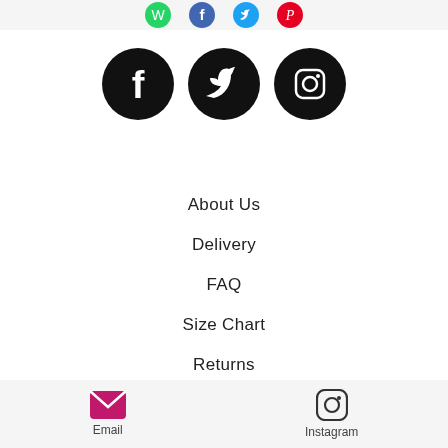[Figure (other): Top bar with social share icons: WhatsApp (green), Facebook (blue), Twitter (blue), Pinterest (pink)]
[Figure (other): Three black circular social media icons: Facebook, Twitter, Instagram]
About Us
Delivery
FAQ
Size Chart
Returns
© 2015 by Shanice Emily
Photography: Pl.West & Nursan
[Figure (other): Bottom navigation bar with Email (pink envelope icon) and Instagram (Instagram icon) links]